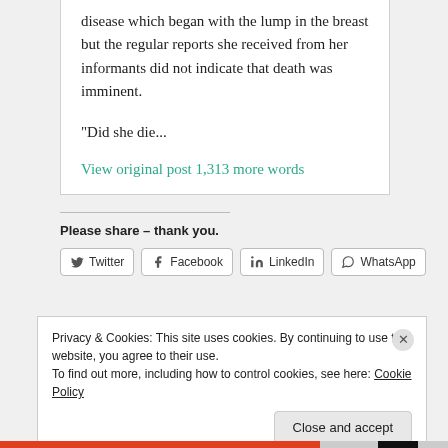disease which began with the lump in the breast but the regular reports she received from her informants did not indicate that death was imminent.
“Did she die...
View original post 1,313 more words
Please share – thank you.
Twitter  Facebook  LinkedIn  WhatsApp
Privacy & Cookies: This site uses cookies. By continuing to use this website, you agree to their use.
To find out more, including how to control cookies, see here: Cookie Policy
Close and accept